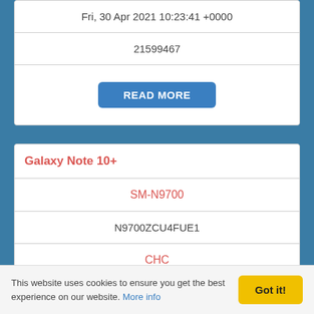| Fri, 30 Apr 2021 10:23:41 +0000 |
| 21599467 |
| READ MORE |
| Galaxy Note 10+ |
| --- |
| SM-N9700 |
| N9700ZCU4FUE1 |
| CHC |
| 11 |
|  |
This website uses cookies to ensure you get the best experience on our website. More info
Got it!